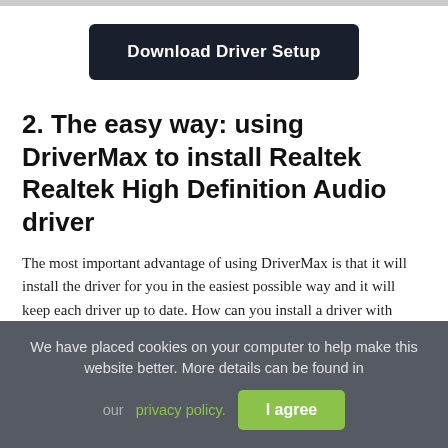[Figure (screenshot): Dark navy rounded button labeled 'Download Driver Setup']
2. The easy way: using DriverMax to install Realtek Realtek High Definition Audio driver
The most important advantage of using DriverMax is that it will install the driver for you in the easiest possible way and it will keep each driver up to date. How can you install a driver with DriverMax? Let's see!
We have placed cookies on your computer to help make this website better. More details can be found in our privacy policy.